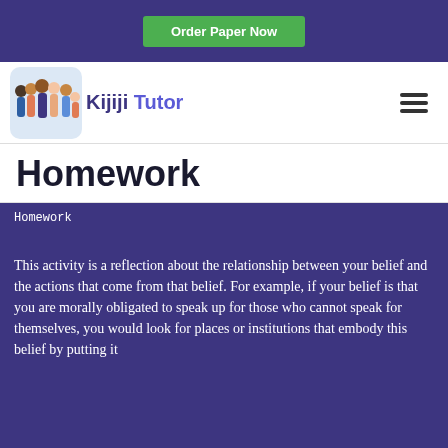Order Paper Now
[Figure (logo): Kijiji Tutor logo with group of people illustration and text 'Kijiji Tutor']
Homework
Homework

This activity is a reflection about the relationship between your belief and the actions that come from that belief. For example, if your belief is that you are morally obligated to speak up for those who cannot speak for themselves, you would look for places or institutions that embody this belief by putting it